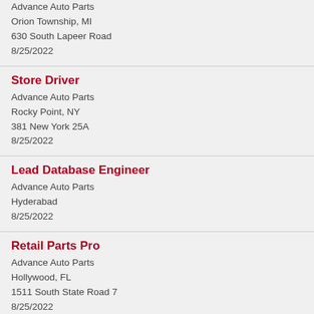Store Driver
Advance Auto Parts
Orion Township, MI
630 South Lapeer Road
8/25/2022
Store Driver
Advance Auto Parts
Rocky Point, NY
381 New York 25A
8/25/2022
Lead Database Engineer
Advance Auto Parts
Hyderabad
8/25/2022
Retail Parts Pro
Advance Auto Parts
Hollywood, FL
1511 South State Road 7
8/25/2022
Floating General Manager - District 2705
Advance Auto Parts